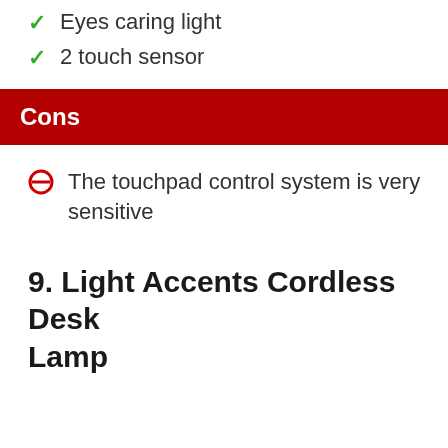Eyes caring light
2 touch sensor
Cons
The touchpad control system is very sensitive
9. Light Accents Cordless Desk Lamp